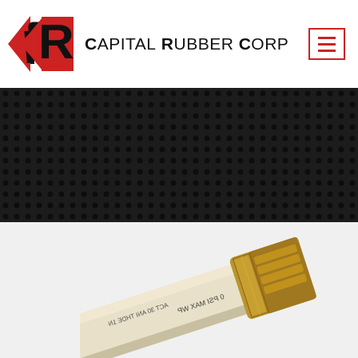[Figure (logo): Capital Rubber Corp logo with red angular 'CR' symbol and bold uppercase text 'CAPITAL RUBBER CORP']
[Figure (other): Red bordered hamburger menu button icon with three horizontal red lines]
[Figure (photo): Dark textured perforated rubber sheet background banner]
[Figure (photo): Industrial rubber hose with brass fitting/coupling end, showing hose markings including 'PSI MAX WP' text. White/cream colored hose body with gold brass threaded female coupling.]